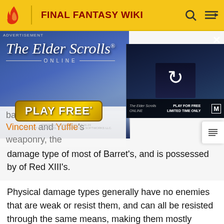FINAL FANTASY WIKI
[Figure (screenshot): Advertisement for The Elder Scrolls Online game with 'PLAY FREE' button, showing fantasy battle scene and a secondary video thumbnail panel with a refresh icon]
bare damage type for Vincent and Yuffie's weaponry, the damage type of most of Barret's, and is possessed by of Red XIII's.
Physical damage types generally have no enemies that are weak or resist them, and can all be resisted through the same means, making them mostly superfluous. However, the strong connection between Shoot and Long Range make this damage type particularly useful for the party, as it allows party members to attack with the same